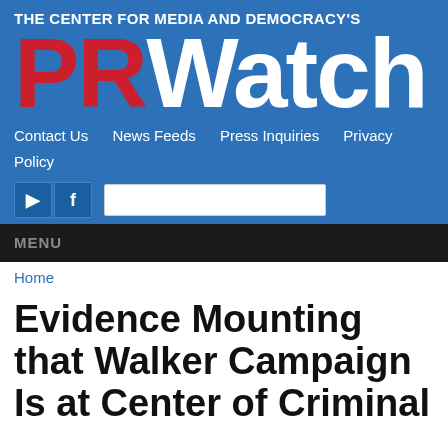The Center for Media and Democracy's PRWatch
Contact Us  News Feeds  Press Inquiries  Privacy Policy
MENU
Home
Evidence Mounting that Walker Campaign Is at Center of Criminal